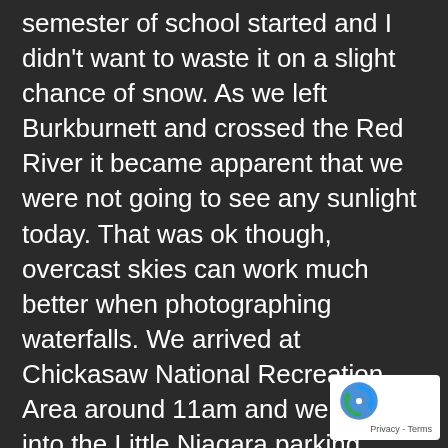semester of school started and I didn't want to waste it on a slight chance of snow. As we left Burkburnett and crossed the Red River it became apparent that we were not going to see any sunlight today. That was ok though, overcast skies can work much better when photographing waterfalls. We arrived at Chickasaw National Recreation Area around 11am and we pulled into the Little Niagara parking area. During the spring/summer time this parking lot of full of swimmers looking to enjoy the cool water. This was not the case today, however. Only one vehicle was in the parking lot when we arrived. These are the kind of conditions I hope for.
Ashlee and I gathered our gear and I explained to her the trail system. She went downstream and I went upstream. I was going to photograph the upper falls and work my way down towards the lower section. I spent a short while exploring the upper falls and snapping multiple images. Some wide, some tight, some even more abstract.